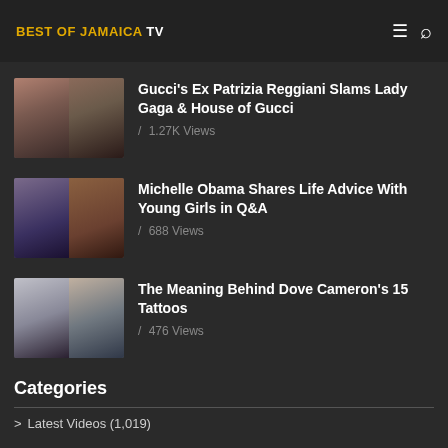BEST OF JAMAICA TV
Gucci's Ex Patrizia Reggiani Slams Lady Gaga & House of Gucci
/ 1.27K Views
[Figure (photo): Two photos side by side related to Gucci story]
Michelle Obama Shares Life Advice With Young Girls in Q&A
/ 688 Views
[Figure (photo): Two photos side by side of Michelle Obama and young girl]
The Meaning Behind Dove Cameron's 15 Tattoos
/ 476 Views
[Figure (photo): Two photos side by side of Dove Cameron and tattoo]
Categories
> Latest Videos (1,019)